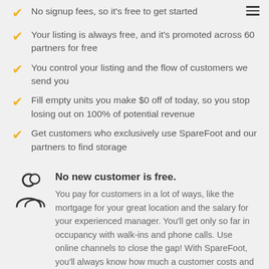No signup fees, so it's free to get started
Your listing is always free, and it's promoted across 60 partners for free
You control your listing and the flow of customers we send you
Fill empty units you make $0 off of today, so you stop losing out on 100% of potential revenue
Get customers who exclusively use SpareFoot and our partners to find storage
No new customer is free.
You pay for customers in a lot of ways, like the mortgage for your great location and the salary for your experienced manager. You'll get only so far in occupancy with walk-ins and phone calls. Use online channels to close the gap! With SpareFoot, you'll always know how much a customer costs and what